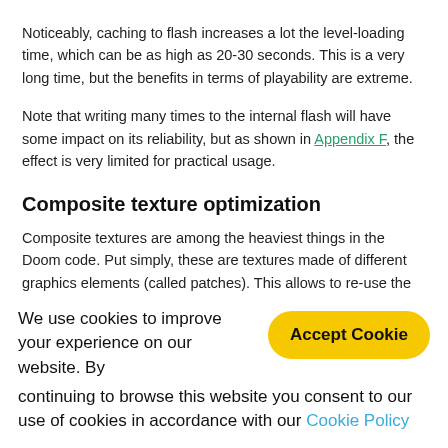Noticeably, caching to flash increases a lot the level-loading time, which can be as high as 20-30 seconds. This is a very long time, but the benefits in terms of playability are extreme.
Note that writing many times to the internal flash will have some impact on its reliability, but as shown in Appendix F, the effect is very limited for practical usage.
Composite texture optimization
Composite textures are among the heaviest things in the Doom code. Put simply, these are textures made of different graphics elements (called patches). This allows to re-use the same patch in the same or other textures, saving a good deal of space, at the expense of
We use cookies to improve your experience on our website. By continuing to browse this website you consent to our use of cookies in accordance with our Cookie Policy